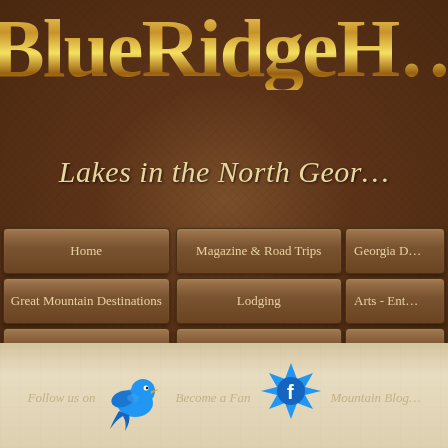BlueRidgeH…
Lakes in the North Geor…
Home
Magazine & Road Trips
Georgia D…
Great Mountain Destinations
Lodging
Arts - Ent…
Dining - Pubs
Vineyards & Wineries
Micro B…
Free Brochures - Info
Travel Information
Realtors &…
[Figure (illustration): Blue bird (Twitter bird) icon in blue color]
Follow us on
Become a Fan
[Figure (logo): Facebook badge icon, blue circular badge with 'f' letter]
Mountain Blog…